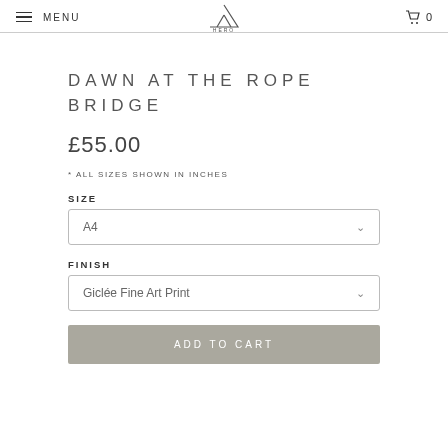MENU  [logo: HERO]  0
DAWN AT THE ROPE BRIDGE
£55.00
* ALL SIZES SHOWN IN INCHES
SIZE
A4
FINISH
Giclée Fine Art Print
ADD TO CART